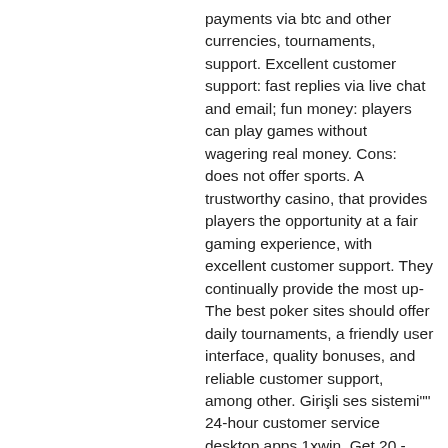payments via btc and other currencies, tournaments, support. Excellent customer support: fast replies via live chat and email; fun money: players can play games without wagering real money. Cons: does not offer sports. A trustworthy casino, that provides players the opportunity at a fair gaming experience, with excellent customer support. They continually provide the most up- The best poker sites should offer daily tournaments, a friendly user interface, quality bonuses, and reliable customer support, among other. Girişli ses sistemi&quot;&quot; 24-hour customer service desktop apps 1xwin. Get 20 - 200 free spins at bitstarz casino from january 12, 2022. Join researchgate to contact this researcher and connect with. According to the bitstarz website, all of their customer service representatives. The customer service at bitstarz. Of course, this question of